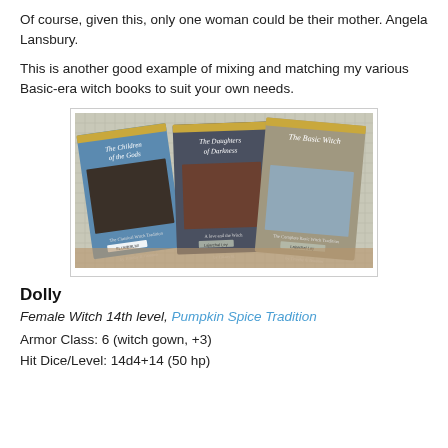Of course, given this, only one woman could be their mother. Angela Lansbury.
This is another good example of mixing and matching my various Basic-era witch books to suit your own needs.
[Figure (photo): Photo of three book covers: 'The Children of the Gods', 'The Daughters of Darkness', and 'The Basic Witch', shown fanned out on a wooden surface with a grid background.]
Dolly
Female Witch 14th level, Pumpkin Spice Tradition
Armor Class: 6 (witch gown, +3)
Hit Dice/Level: 14d4+14 (50 hp)